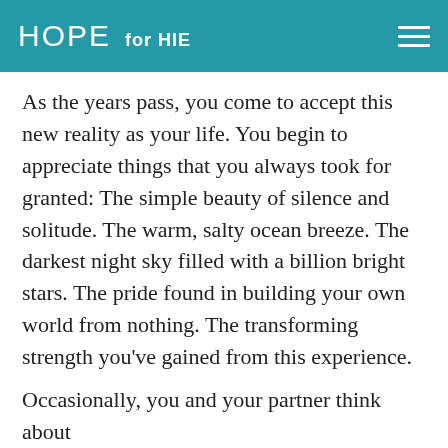HOPE for HIE
As the years pass, you come to accept this new reality as your life. You begin to appreciate things that you always took for granted: The simple beauty of silence and solitude. The warm, salty ocean breeze. The darkest night sky filled with a billion bright stars. The pride found in building your own world from nothing. The transforming strength you've gained from this experience.
Occasionally, you and your partner think about